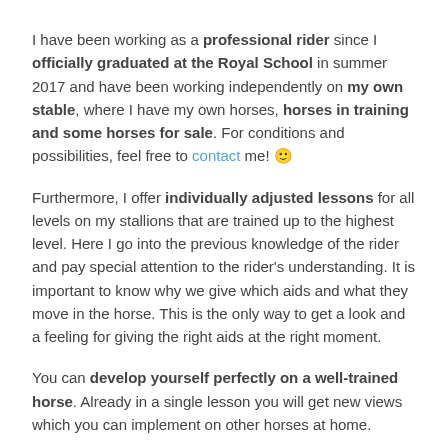I have been working as a professional rider since I officially graduated at the Royal School in summer 2017 and have been working independently on my own stable, where I have my own horses, horses in training and some horses for sale. For conditions and possibilities, feel free to contact me! 🙂
Furthermore, I offer individually adjusted lessons for all levels on my stallions that are trained up to the highest level. Here I go into the previous knowledge of the rider and pay special attention to the rider's understanding. It is important to know why we give which aids and what they move in the horse. This is the only way to get a look and a feeling for giving the right aids at the right moment.
You can develop yourself perfectly on a well-trained horse. Already in a single lesson you will get new views which you can implement on other horses at home.
Regardless of whether you are looking for ideas to continue working with your own horse at home or you are simply in the area and just want to get a feel for what movements as piaffe and Spanish walk feel like on a Spanish dream horse:
Just contact me without any obligation. I look forward to meeting